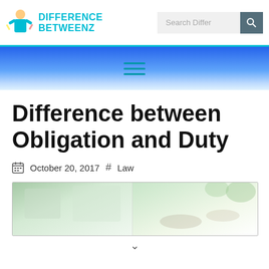DIFFERENCE BETWEENZ
[Figure (screenshot): Navigation banner with hamburger menu icon on gradient blue background]
Difference between Obligation and Duty
October 20, 2017   #   Law
[Figure (photo): Blurred photo showing two people, possibly a handshake, with green foliage in background]